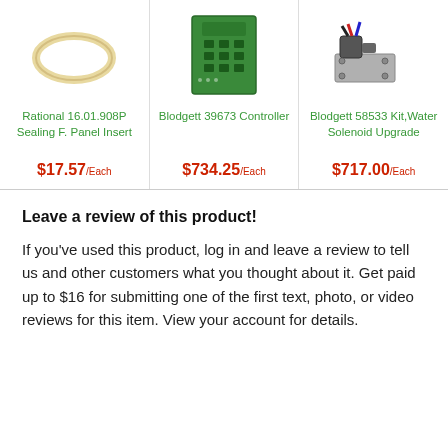[Figure (photo): Rubber/silicone sealing ring gasket]
Rational 16.01.908P Sealing F. Panel Insert
$17.57/Each
[Figure (photo): Green circuit controller board with keypad]
Blodgett 39673 Controller
$734.25/Each
[Figure (photo): Water solenoid upgrade kit with valve and wiring]
Blodgett 58533 Kit,Water Solenoid Upgrade
$717.00/Each
Leave a review of this product!
If you've used this product, log in and leave a review to tell us and other customers what you thought about it. Get paid up to $16 for submitting one of the first text, photo, or video reviews for this item. View your account for details.